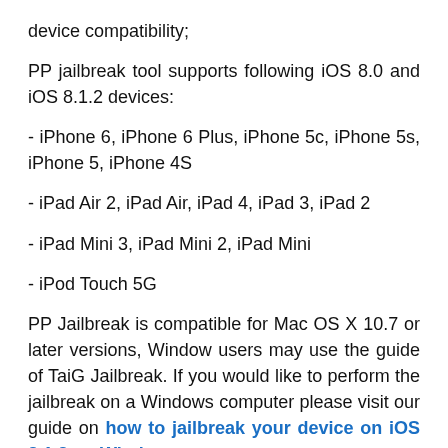device compatibility;
PP jailbreak tool supports following iOS 8.0 and iOS 8.1.2 devices:
- iPhone 6, iPhone 6 Plus, iPhone 5c, iPhone 5s, iPhone 5, iPhone 4S
- iPad Air 2, iPad Air, iPad 4, iPad 3, iPad 2
- iPad Mini 3, iPad Mini 2, iPad Mini
- iPod Touch 5G
PP Jailbreak is compatible for Mac OS X 10.7 or later versions, Window users may use the guide of TaiG Jailbreak. If you would like to perform the jailbreak on a Windows computer please visit our guide on how to jailbreak your device on iOS 8.1.2 on Windows.
The iTunes installed on your device should be the